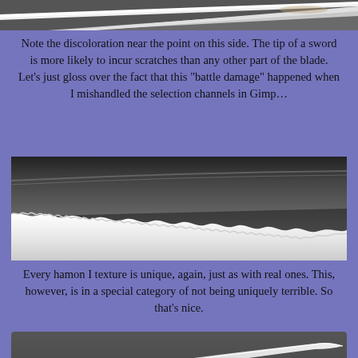[Figure (photo): Close-up of a sword blade tip showing discoloration, cropped at top of page]
Note the discoloration near the point on this side. The tip of a sword is more likely to incur scratches than any other part of the blade. Let’s just gloss over the fact that this “battle damage” happened when I mishandled the selection channels in Gimp…
[Figure (photo): Close-up of a sword blade showing a hamon (temper line) texture along the edge, rendered in 3D, dark background]
Every hamon I texture is unique, again, just as with real ones. This, however, is in a special category of not being uniquely terrible. So that’s nice.
[Figure (photo): Partial view of a sword with purple handle fittings and a curved blade showing hamon texture, dark background]